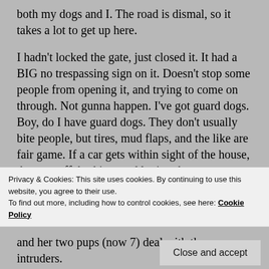both my dogs and I. The road is dismal, so it takes a lot to get up here.

I hadn't locked the gate, just closed it. It had a BIG no trespassing sign on it. Doesn't stop some people from opening it, and trying to come on through. Not gunna happen. I've got guard dogs. Boy, do I have guard dogs. They don't usually bite people, but tires, mud flaps, and the like are fair game. If a car gets within sight of the house, they are off, barking, and letting the trespassers know what is what. This is not a place one wants to mess with. And that doesn't include my Smith and Wesson .357. I don't
Privacy & Cookies: This site uses cookies. By continuing to use this website, you agree to their use.
To find out more, including how to control cookies, see here: Cookie Policy
and her two pups (now 7) deal with the intruders.